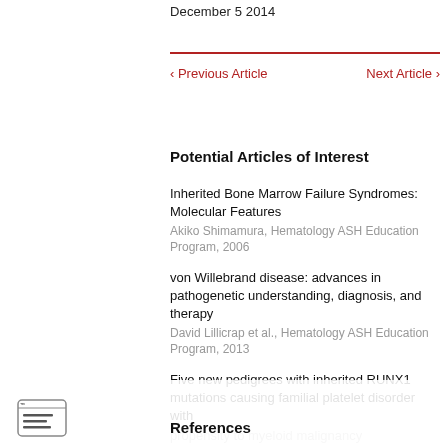December 5 2014
< Previous Article   Next Article >
Potential Articles of Interest
Inherited Bone Marrow Failure Syndromes: Molecular Features
Akiko Shimamura, Hematology ASH Education Program, 2006
von Willebrand disease: advances in pathogenetic understanding, diagnosis, and therapy
David Lillicrap et al., Hematology ASH Education Program, 2013
Five new pedigrees with inherited RUNX1 mutations causing familial platelet disorder with propensity to myeloid malignancy
References